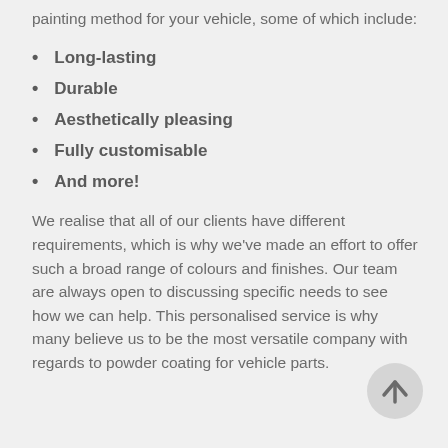painting method for your vehicle, some of which include:
Long-lasting
Durable
Aesthetically pleasing
Fully customisable
And more!
We realise that all of our clients have different requirements, which is why we've made an effort to offer such a broad range of colours and finishes. Our team are always open to discussing specific needs to see how we can help. This personalised service is why many believe us to be the most versatile company with regards to powder coating for vehicle parts.
[Figure (other): Back-to-top circular button with upward arrow icon]